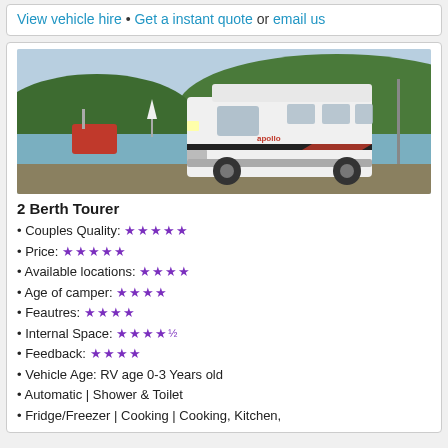View vehicle hire • Get a instant quote or email us
[Figure (photo): A white high-top campervan (Apollo/Maui 2 Berth Tourer) parked near a waterfront harbour with sailboats and hills in the background.]
2 Berth Tourer
Couples Quality: ★★★★★
Price: ★★★★★
Available locations: ★★★★
Age of camper: ★★★★
Feautres: ★★★★
Internal Space: ★★★★½
Feedback: ★★★★
Vehicle Age: RV age 0-3 Years old
Automatic | Shower & Toilet
Fridge/Freezer | Cooking | Cooking, Kitchen,